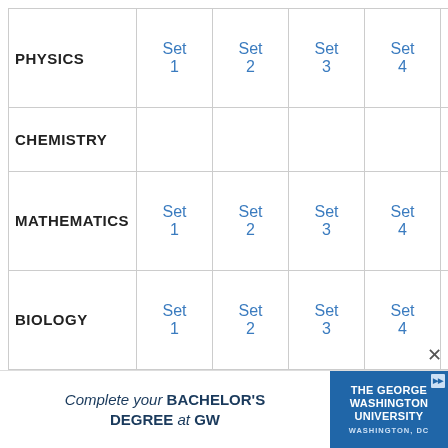| Subject | Col1 | Col2 | Col3 | Col4 | Col5 |
| --- | --- | --- | --- | --- | --- |
| PHYSICS | Set 1 | Set 2 | Set 3 | Set 4 |  |
| CHEMISTRY |  |  |  |  |  |
| MATHEMATICS | Set 1 | Set 2 | Set 3 | Set 4 | Set 5 |
| BIOLOGY | Set 1 | Set 2 | Set 3 | Set 4 |  |
[Figure (other): Advertisement banner for The George Washington University: 'Complete your BACHELOR'S DEGREE at GW']